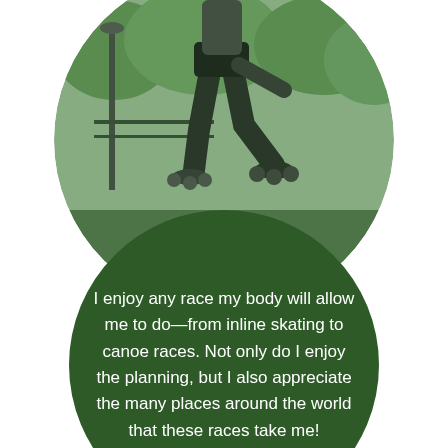[Figure (photo): A person inline skating outdoors in a park, green-tinted black and white photo, cropped in a circle. The skater's legs and inline skates are visible, with trees and park structures in the background.]
I enjoy any race my body will allow me to do—from inline skating to canoe races. Not only do I enjoy the planning, but I also appreciate the many places around the world that these races take me!